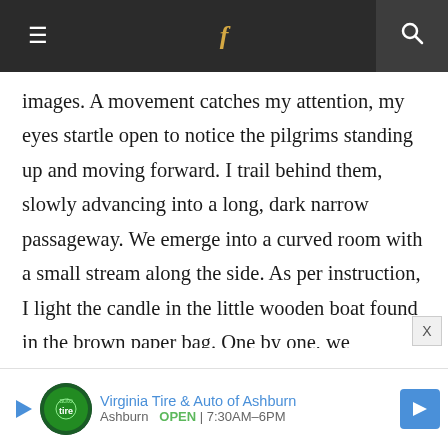≡  f  🔍
images. A movement catches my attention, my eyes startle open to notice the pilgrims standing up and moving forward. I trail behind them, slowly advancing into a long, dark narrow passageway. We emerge into a curved room with a small stream along the side. As per instruction, I light the candle in the little wooden boat found in the brown paper bag. One by one, we delicately place the boats in the waterway.
My mind is busy now with strong visions
[Figure (other): Advertisement banner: Virginia Tire & Auto of Ashburn. Ashburn OPEN 7:30AM–6PM]